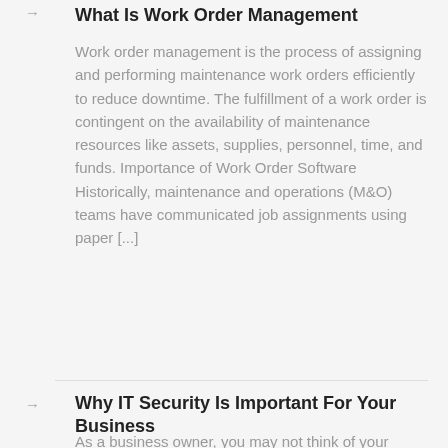What Is Work Order Management
Work order management is the process of assigning and performing maintenance work orders efficiently to reduce downtime. The fulfillment of a work order is contingent on the availability of maintenance resources like assets, supplies, personnel, time, and funds. Importance of Work Order Software Historically, maintenance and operations (M&O) teams have communicated job assignments using paper [...]
Why IT Security Is Important For Your Business
As a business owner, you may not think of your company as a digital